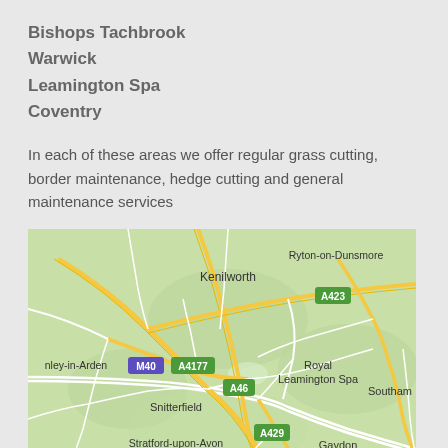Bishops Tachbrook
Warwick
Leamington Spa
Coventry
In each of these areas we offer regular grass cutting, border maintenance, hedge cutting and general maintenance services
[Figure (map): Google map showing Royal Leamington Spa area including Kenilworth, Ryton-on-Dunsmore, Southam, Snitterfield, Stratford-upon-Avon, Gaydon, Henley-in-Arden, with road labels M40, A4177, A46, A423, A429]